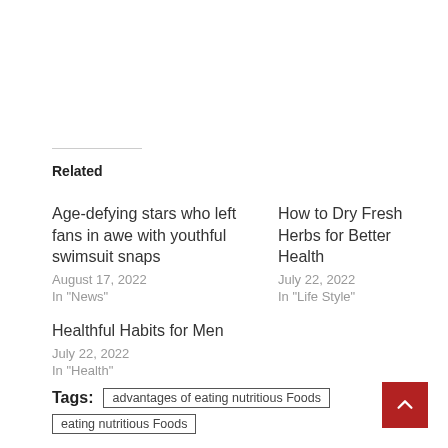Related
Age-defying stars who left fans in awe with youthful swimsuit snaps
August 17, 2022
In "News"
How to Dry Fresh Herbs for Better Health
July 22, 2022
In "Life Style"
Healthful Habits for Men
July 22, 2022
In "Health"
Tags: advantages of eating nutritious Foods | eating nutritious Foods